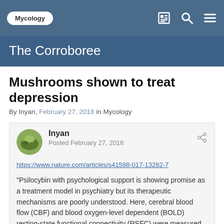Mycology
The Corroboree
Mushrooms shown to treat depression
By Inyan, February 27, 2018 in Mycology
Inyan
Posted February 27, 2018
https://www.nature.com/articles/s41598-017-13282-7
"Psilocybin with psychological support is showing promise as a treatment model in psychiatry but its therapeutic mechanisms are poorly understood. Here, cerebral blood flow (CBF) and blood oxygen-level dependent (BOLD) resting-state functional connectivity (RSFC) were measured with functional magnetic resonance imaging (fMRI) before and after treatment with psilocybin (serotonin agonist) for treatment-resistant depression (TRD). Quality pre and post treatment